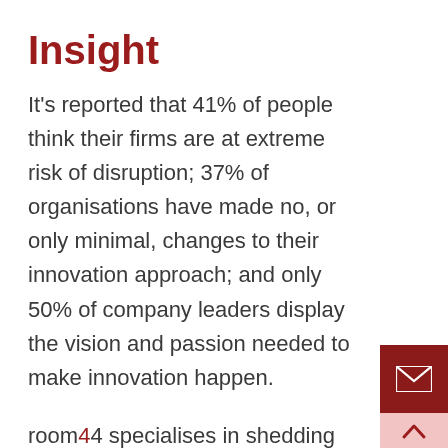Insight
It's reported that 41% of people think their firms are at extreme risk of disruption; 37% of organisations have made no, or only minimal, changes to their innovation approach; and only 50% of company leaders display the vision and passion needed to make innovation happen.
room44 specialises in shedding light on your future and working insight into scenarios. We work with you to update the insight, so that the scenarios evolve and we can show